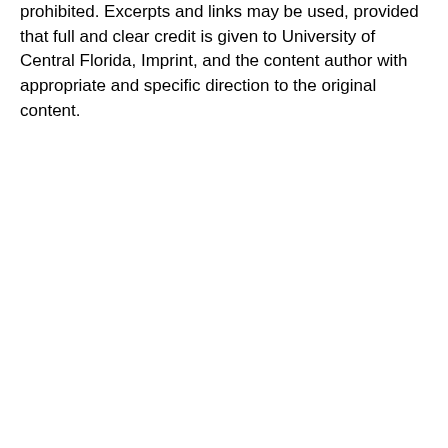prohibited. Excerpts and links may be used, provided that full and clear credit is given to University of Central Florida, Imprint, and the content author with appropriate and specific direction to the original content.